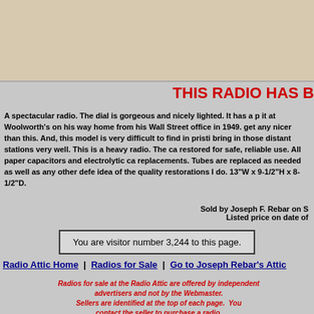[Figure (photo): Top portion of a vintage radio photograph, showing the upper part of the device against a light beige/tan background]
THIS RADIO HAS B
A spectacular radio. The dial is gorgeous and nicely lighted. It has a p it at Woolworth's on his way home from his Wall Street office in 1949. get any nicer than this. And, this model is very difficult to find in pristi bring in those distant stations very well. This is a heavy radio. The ca restored for safe, reliable use. All paper capacitors and electrolytic ca replacements. Tubes are replaced as needed as well as any other defe idea of the quality restorations I do. 13"W x 9-1/2"H x 8-1/2"D.
Sold by Joseph F. Rebar on S Listed price on date of
You are visitor number 3,244 to this page.
Radio Attic Home  |  Radios for Sale  |  Go to Joseph Rebar's Attic
Radios for sale at the Radio Attic are offered by independent advertisers and not by the Webmaster. Sellers are identified at the top of each page.  You contact the seller to purchase a radio. © 1999, 2022  Radio Attic